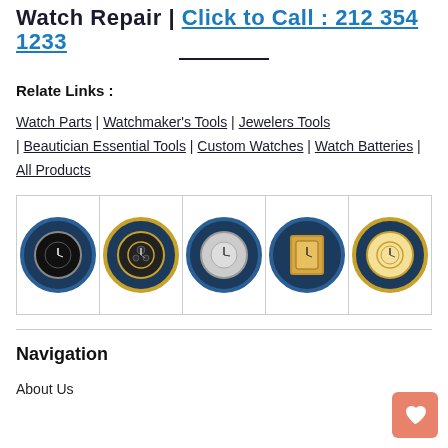Watch Repair | Click to Call : 212 354 1233
Relate Links :
Watch Parts | Watchmaker's Tools | Jewelers Tools | Beautician Essential Tools | Custom Watches | Watch Batteries | All Products
[Figure (photo): A grid of 5 circular watch brand logos/images, each showing a different luxury watch inside a blue circular badge]
Navigation
About Us